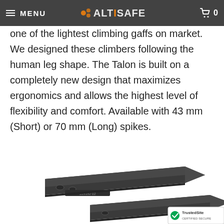MENU | ALTISAFE | 0
one of the lightest climbing gaffs on market. We designed these climbers following the human leg shape. The Talon is built on a completely new design that maximizes ergonomics and allows the highest level of flexibility and comfort. Available with 43 mm (Short) or 70 mm (Long) spikes.
[Figure (photo): Two dark metallic climbing spikes/gaffs shown against a white background, angled to show their pointed tips and mounting holes.]